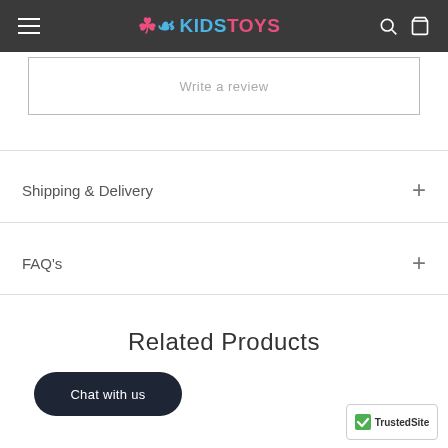KIDS TOYS
Write a review
Shipping & Delivery
FAQ's
Related Products
Chat with us